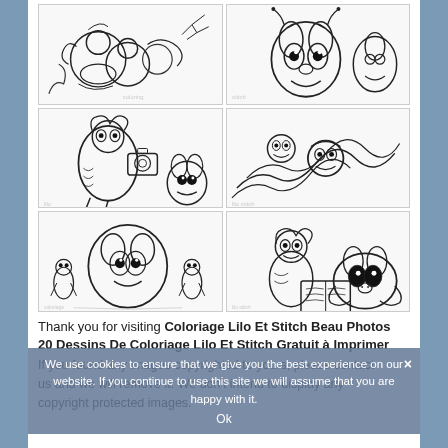[Figure (illustration): A 2x3 grid of six black-and-white Lilo and Stitch coloring page drawings, showing various scenes with Lilo, Stitch, and other characters in outline style.]
Thank you for visiting Coloriage Lilo Et Stitch Beau Photos 20 Dessins De Coloriage Lilo Et Stitch Gratuit à Imprimer
If you found any images copyrighted to yours, please contact us and we will remove it. We don't intend to display any copyright protected images.
We use cookies to ensure that we give you the best experience on our website. If you continue to use this site we will assume that you are happy with it.